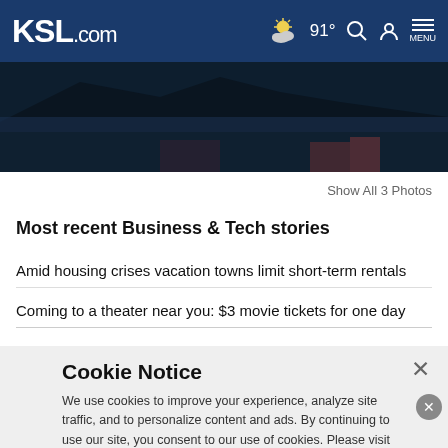KSL.com — 91° MENU
[Figure (photo): Scenic night-time photo of rocky cliff and water with reflections]
Show All 3 Photos
Most recent Business & Tech stories
Amid housing crises vacation towns limit short-term rentals
Coming to a theater near you: $3 movie tickets for one day
Cookie Notice
We use cookies to improve your experience, analyze site traffic, and to personalize content and ads. By continuing to use our site, you consent to our use of cookies. Please visit our Terms of Use and  Privacy Policy for more information